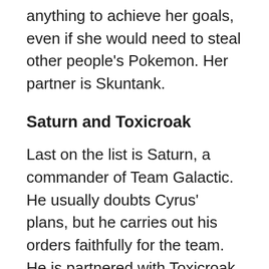anything to achieve her goals, even if she would need to steal other people's Pokemon. Her partner is Skuntank.
Saturn and Toxicroak
Last on the list is Saturn, a commander of Team Galactic. He usually doubts Cyrus' plans, but he carries out his orders faithfully for the team. He is partnered with Toxicroak.
Gym Leaders Revealed
Two gym leaders have been revealed as well, which are Candice and Volkner. The former is a gym leader of the Snowpoint City Gym and